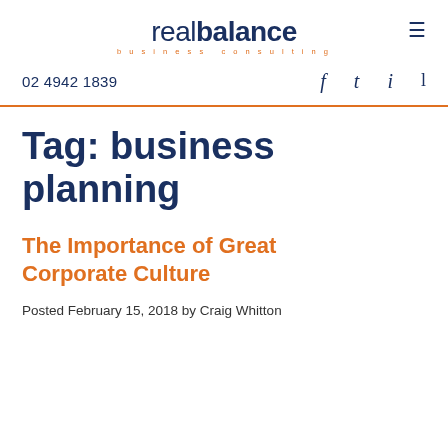real balance business consulting
02 4942 1839   f   t   i   l
Tag: business planning
The Importance of Great Corporate Culture
Posted February 15, 2018 by Craig Whitton